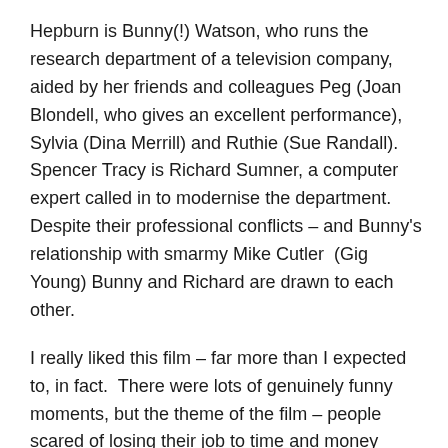Hepburn is Bunny(!) Watson, who runs the research department of a television company, aided by her friends and colleagues Peg (Joan Blondell, who gives an excellent performance), Sylvia (Dina Merrill) and Ruthie (Sue Randall).  Spencer Tracy is Richard Sumner, a computer expert called in to modernise the department.  Despite their professional conflicts – and Bunny's relationship with smarmy Mike Cutler  (Gig Young) Bunny and Richard are drawn to each other.
I really liked this film – far more than I expected to, in fact.  There were lots of genuinely funny moments, but the theme of the film – people scared of losing their job to time and money saving technology – was ahead of its time.
Hepburn and Tracy have terrific chemistry together – no doubt aided by because of their real life relationship...